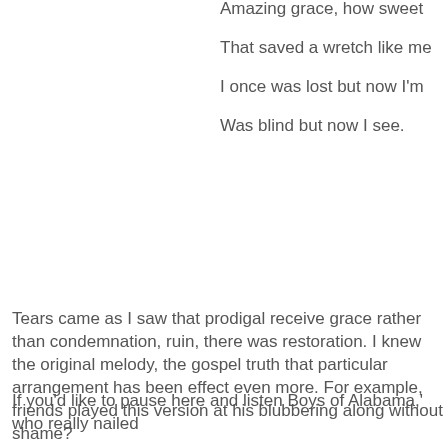Amazing grace, how sweet
That saved a wretch like me
I once was lost but now I'm
Was blind but now I see.
Tears came as I saw that prodigal receive grace rather than condemnation, ruin, there was restoration. I knew the original melody, the gospel truth that particular arrangement has been effect even more. For example, friends played this version at his blubbering along without shame?
If you'd like to pause here and listen Boys of Alabama,' who really nailed